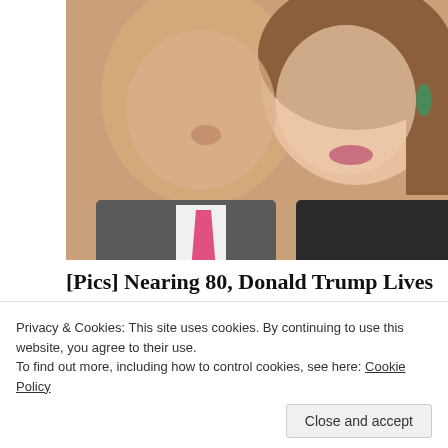[Figure (photo): Close-up photo of a man in a suit with a pink tie and a woman with long brown hair and green earrings, smiling together.]
[Pics] Nearing 80, Donald Trump Lives In This Modest Property
BuzzAura
[Figure (photo): Exterior photo of a modest beige/tan house with horizontal siding, a peaked roof, and bare trees in the background.]
Privacy & Cookies: This site uses cookies. By continuing to use this website, you agree to their use.
To find out more, including how to control cookies, see here: Cookie Policy
Close and accept